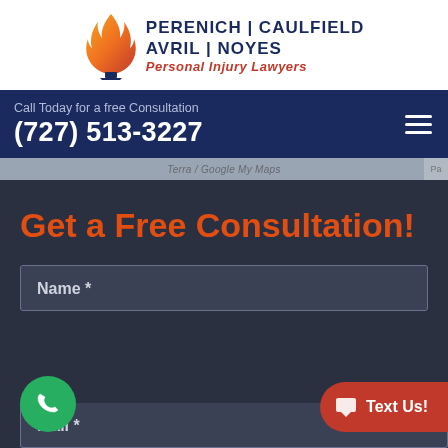[Figure (logo): Perenich Caulfield Avril Noyes Personal Injury Lawyers logo with flame icon]
Call Today for a free Consultation
(727) 513-3227
[Figure (screenshot): Google Maps / navigation bar strip partially visible]
Get a Free Consultation!
Name *
Email *